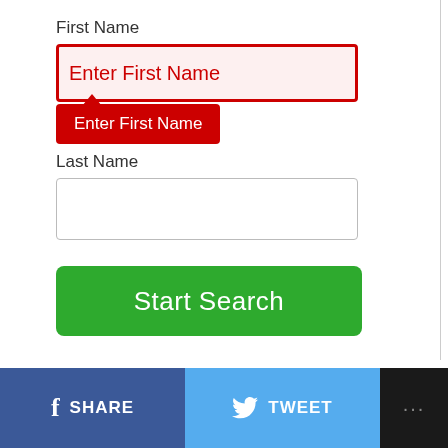First Name
[Figure (screenshot): Text input field with red border and pinkish background showing placeholder text 'Enter First Name' in red]
Enter First Name (red tooltip/error box)
Last Name
[Figure (screenshot): Empty text input field with light gray border]
[Figure (screenshot): Green 'Start Search' button]
SHARE  TWEET  ...